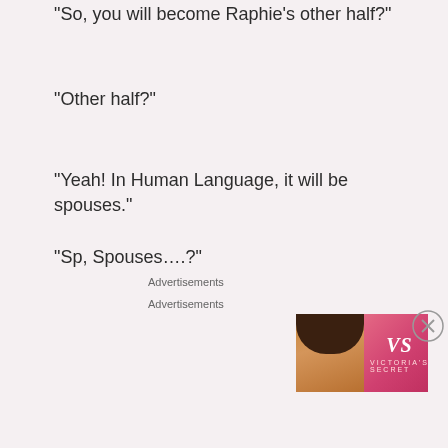“So, you will become Raphie’s other half?”
“Other half?”
“Yeah! In Human Language, it will be spouses.”
“Sp, Spouses….?”
Again, the conversation went in a direction that was not anticipated.
Raphia’s eyes was shining *KiraKira*.
Advertisements
Advertisements
[Figure (other): Victoria's Secret advertisement banner with a woman, VS logo, SHOP THE COLLECTION text, and SHOP NOW button]